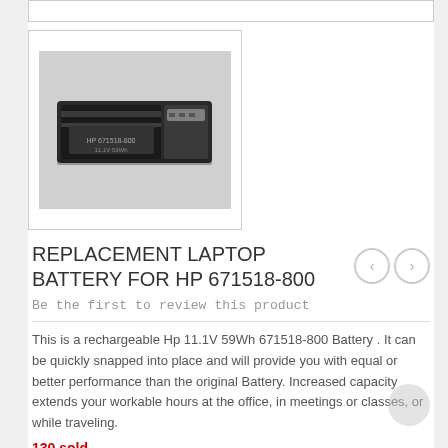[Figure (photo): Photograph of a laptop battery (HP replacement) — a flat rectangular lithium-ion battery pack with a dark casing and connector tabs, shown against a light background.]
REPLACEMENT LAPTOP BATTERY FOR HP 671518-800
Be the first to review this product
This is a rechargeable Hp 11.1V 59Wh 671518-800 Battery . It can be quickly snapped into place and will provide you with equal or better performance than the original Battery. Increased capacity extends your workable hours at the office, in meetings or classes, or while traveling.
130 sold
Availability: In stock
$51.32
Brand See other products by Hp Accessories